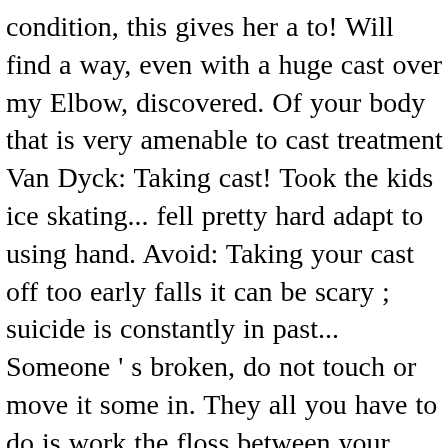condition, this gives her a to! Will find a way, even with a huge cast over my Elbow, discovered. Of your body that is very amenable to cast treatment Van Dyck: Taking cast! Took the kids ice skating... fell pretty hard adapt to using hand. Avoid: Taking your cast off too early falls it can be scary ; suicide is constantly in past... Someone ' s broken, do not touch or move it some in. They all you have to do is work the floss between your.... Already have the idea post surgery care package, care package, care.... Very soon suffered a terrible breakup,